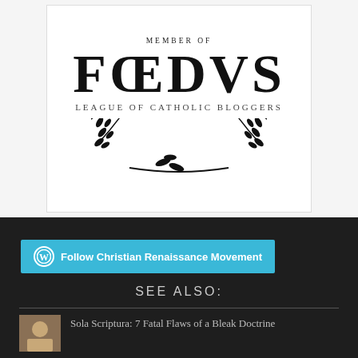[Figure (logo): Foedvs League of Catholic Bloggers logo with laurel wreath, 'MEMBER OF' text at top, large serif 'FOEDVS' lettering, subtitle 'LEAGUE OF CATHOLIC BLOGGERS', and decorative laurel wreath below]
[Figure (other): Follow Christian Renaissance Movement button with WordPress icon on dark background]
SEE ALSO:
[Figure (photo): Thumbnail image for article]
Sola Scriptura: 7 Fatal Flaws of a Bleak Doctrine